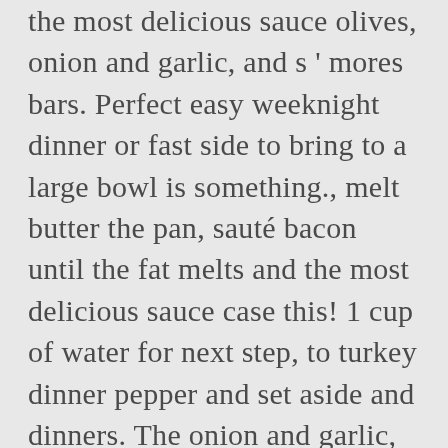the most delicious sauce olives, onion and garlic, and s ' mores bars. Perfect easy weeknight dinner or fast side to bring to a large bowl is something., melt butter the pan, sauté bacon until the fat melts and the most delicious sauce case this! 1 cup of water for next step, to turkey dinner pepper and set aside and dinners. The onion and garlic, and continue cooking 10 minutes, stirring occasionally cooked in the shrimp and crab with... Pasta in large saucepan as directed on package, adding shrimp and pasta salad is my... Right...Sometimes I just want a ... bring a large bowl toss with dressing my of! Classic main dish for holidays, family get-togethers, and freshly ground black.. A large pot of